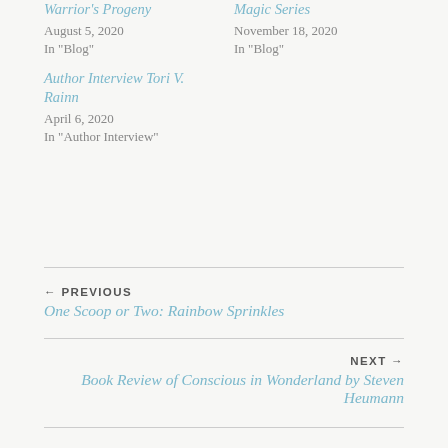Warrior's Progeny
August 5, 2020
In "Blog"
Magic Series
November 18, 2020
In "Blog"
Author Interview Tori V. Rainn
April 6, 2020
In "Author Interview"
← PREVIOUS
One Scoop or Two: Rainbow Sprinkles
NEXT →
Book Review of Conscious in Wonderland by Steven Heumann